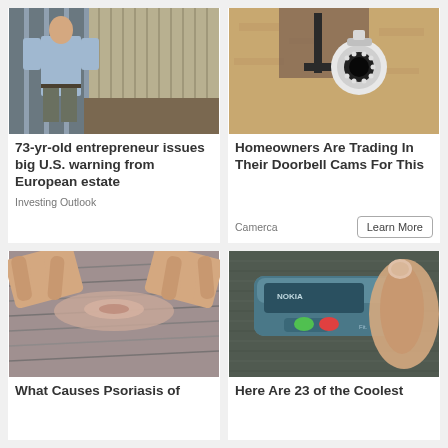[Figure (photo): Man in blue shirt standing outdoors near scaffolding and a corrugated metal wall]
73-yr-old entrepreneur issues big U.S. warning from European estate
Investing Outlook
[Figure (photo): White outdoor security camera mounted on a bracket against a stucco wall]
Homeowners Are Trading In Their Doorbell Cams For This
Camerca
[Figure (photo): Close-up of hands parting gray hair on someone's scalp, showing psoriasis]
What Causes Psoriasis of
[Figure (photo): Nokia mobile phone being held between thumb and finger on a gray carpet]
Here Are 23 of the Coolest